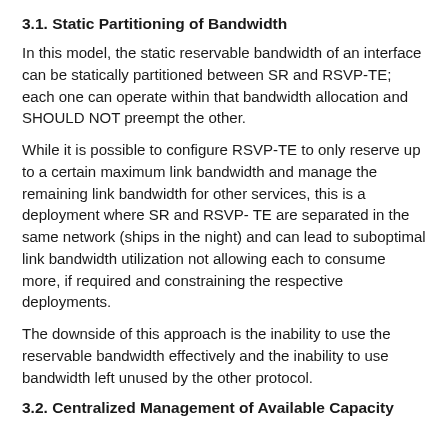3.1. Static Partitioning of Bandwidth
In this model, the static reservable bandwidth of an interface can be statically partitioned between SR and RSVP-TE; each one can operate within that bandwidth allocation and SHOULD NOT preempt the other.
While it is possible to configure RSVP-TE to only reserve up to a certain maximum link bandwidth and manage the remaining link bandwidth for other services, this is a deployment where SR and RSVP- TE are separated in the same network (ships in the night) and can lead to suboptimal link bandwidth utilization not allowing each to consume more, if required and constraining the respective deployments.
The downside of this approach is the inability to use the reservable bandwidth effectively and the inability to use bandwidth left unused by the other protocol.
3.2. Centralized Management of Available Capacity